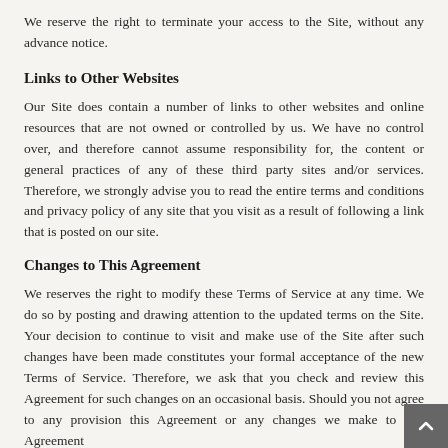We reserve the right to terminate your access to the Site, without any advance notice.
Links to Other Websites
Our Site does contain a number of links to other websites and online resources that are not owned or controlled by us. We have no control over, and therefore cannot assume responsibility for, the content or general practices of any of these third party sites and/or services. Therefore, we strongly advise you to read the entire terms and conditions and privacy policy of any site that you visit as a result of following a link that is posted on our site.
Changes to This Agreement
We reserves the right to modify these Terms of Service at any time. We do so by posting and drawing attention to the updated terms on the Site. Your decision to continue to visit and make use of the Site after such changes have been made constitutes your formal acceptance of the new Terms of Service. Therefore, we ask that you check and review this Agreement for such changes on an occasional basis. Should you not agree to any provision this Agreement or any changes we make to this Agreement